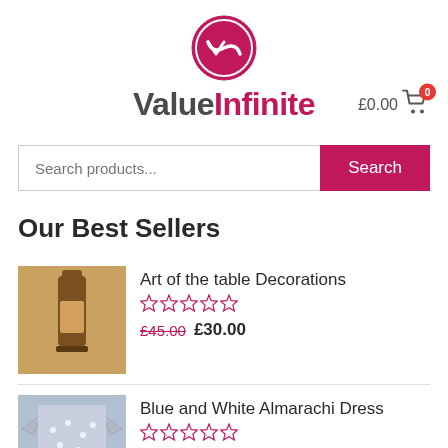[Figure (logo): ValueInfinite logo: pink circle with white V-infinity symbol, brand name 'ValueInfinite' beside it, shopping cart icon with £0.00 and badge 0]
Search products...
Our Best Sellers
Art of the table Decorations
☆☆☆☆☆
£45.00 £30.00
Blue and White Almarachi Dress
☆☆☆☆☆